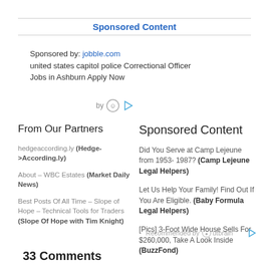Sponsored Content
Sponsored by: jobble.com
unitied states capitol police Correctional Officer Jobs in Ashburn Apply Now
by [taboola icon] [play icon]
From Our Partners
Sponsored Content
hedgeaccording.ly (Hedge->According.ly)
About – WBC Estates (Market Daily News)
Best Posts Of All Time – Slope of Hope – Technical Tools for Traders (Slope Of Hope with Tim Knight)
Did You Serve at Camp Lejeune from 1953- 1987? (Camp Lejeune Legal Helpers)
Let Us Help Your Family! Find Out If You Are Eligible. (Baby Formula Legal Helpers)
[Pics] 3-Foot Wide House Sells For $260,000, Take A Look Inside (BuzzFond)
Recommended by Outbrain
33 Comments